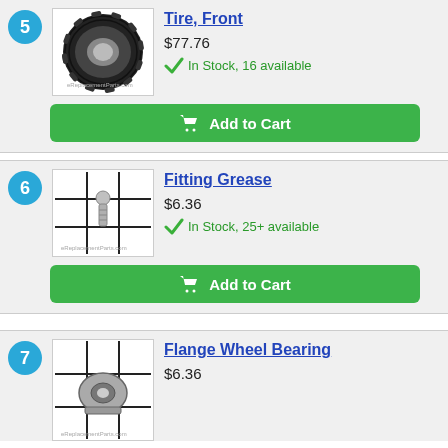[Figure (photo): Front tire product photo - black rubber tire on white background]
Tire, Front
$77.76
In Stock, 16 available
Add to Cart
[Figure (photo): Grease fitting product photo on grid background]
Fitting Grease
$6.36
In Stock, 25+ available
Add to Cart
[Figure (photo): Flange wheel bearing product photo on grid background]
Flange Wheel Bearing
$6.36